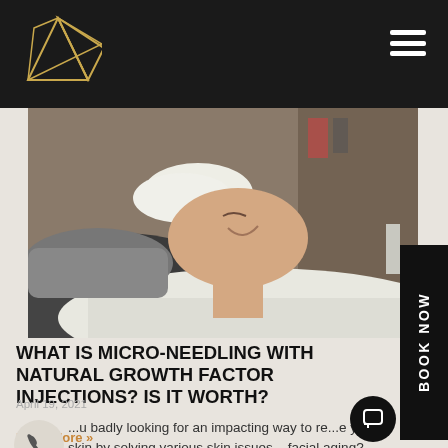[Figure (logo): Gold geometric prism/triangle logo on dark header background]
[Figure (photo): Woman lying back at a spa/clinic with white towel on head, smiling, receiving a facial treatment]
WHAT IS MICRO-NEEDLING WITH NATURAL GROWTH FACTOR INJECTIONS? IS IT WORTH?
April 19, 2021
...u badly looking for an impacting way to re...e your skin by solving various skin issues ...facial aging? You may be helped with
Read More »